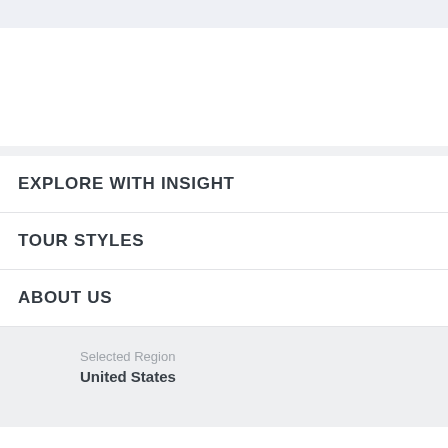EXPLORE WITH INSIGHT
TOUR STYLES
ABOUT US
Selected Region
United States